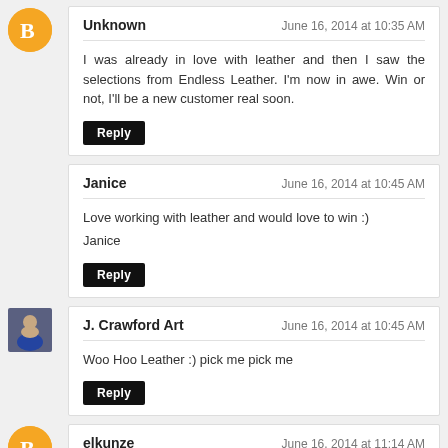Unknown — June 16, 2014 at 10:35 AM
I was already in love with leather and then I saw the selections from Endless Leather. I'm now in awe. Win or not, I'll be a new customer real soon.
[Reply]
Janice — June 16, 2014 at 10:45 AM
Love working with leather and would love to win :)
Janice
[Reply]
J. Crawford Art — June 16, 2014 at 10:45 AM
Woo Hoo Leather :) pick me pick me
[Reply]
elkunze — June 16, 2014 at 11:14 AM